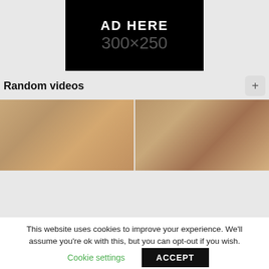[Figure (other): Advertisement placeholder showing 'AD HERE 300x250' text on black background]
Random videos
[Figure (photo): Two video thumbnails side by side showing video content]
This website uses cookies to improve your experience. We'll assume you're ok with this, but you can opt-out if you wish.
Cookie settings   ACCEPT